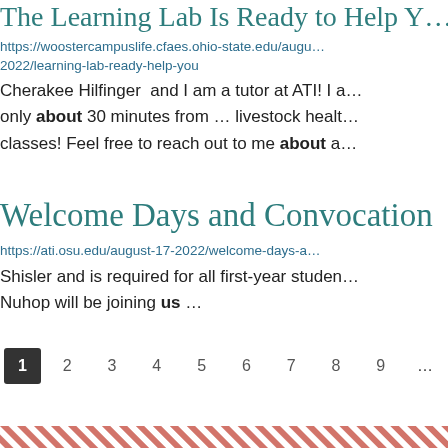The Learning Lab Is Ready to Help Y…
https://woostercampuslife.cfaes.ohio-state.edu/august-2022/learning-lab-ready-help-you
Cherakee Hilfinger  and I am a tutor at ATI! I a… only about 30 minutes from … livestock health classes! Feel free to reach out to me about a…
Welcome Days and Convocation
https://ati.osu.edu/august-17-2022/welcome-days-a…
Shisler and is required for all first-year studen… Nuhop will be joining us …
1 2 3 4 5 6 7 8 9 …